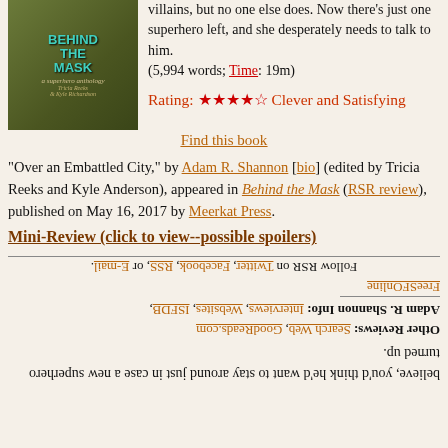villains, but no one else does. Now there's just one superhero left, and she desperately needs to talk to him. (5,994 words; Time: 19m)
Rating: ★★★★☆ Clever and Satisfying
[Figure (photo): Book cover for 'Behind the Mask: a superhero anthology' edited by Tricia Reeks and Kyle Richardson]
Find this book
"Over an Embattled City," by Adam R. Shannon [bio] (edited by Tricia Reeks and Kyle Anderson), appeared in Behind the Mask (RSR review), published on May 16, 2017 by Meerkat Press.
Mini-Review (click to view--possible spoilers)
Follow RSR on Twitter, Facebook, RSS, or E-mail.
FreeSFOnline
Adam R. Shannon Info: Interviews, Websites, ISFDB,
Other Reviews: Search Web, GoodReads.com
believe, you'd think he'd want to stay around just in case a new superhero turned up.